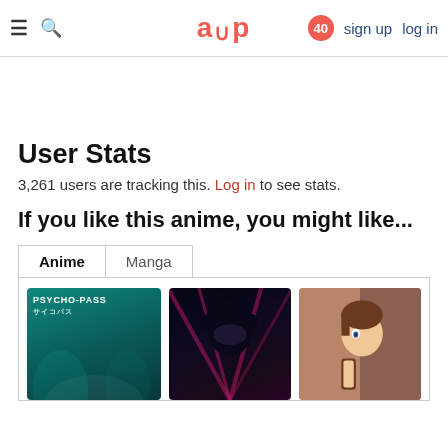aup — sign up  log in  [40]
User Stats
3,261 users are tracking this. Log in to see stats.
If you like this anime, you might like...
Anime | Manga (tabs)
[Figure (photo): Three anime recommendation cards: Psycho-Pass, a dark anime with a character in blue/purple tones, and an action anime character.]